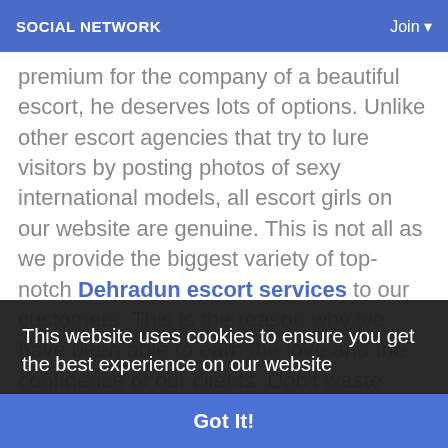SOCIAL NETWORK   Join
premium for the company of a beautiful escort, he deserves lots of options. Unlike other escort agencies that try to lure visitors by posting photos of sexy international models, all escort girls on our website are genuine. This is not all as we provide the biggest variety of top-notch Dehradun escort services to our customers. This is the reason why we have been able to earn the love and the confidence of our clients. Don't waste your time and energy looking at the photos of the girls on other websites if you are desirous of the best in D... are you will h... and the status girl waiting to prove their hospitality skills in front of you.
This website uses cookies to ensure you get the best experience on our website
Learn More
Got It!
We have all you can dream of and more in terms of the kind of woman you want to spend time